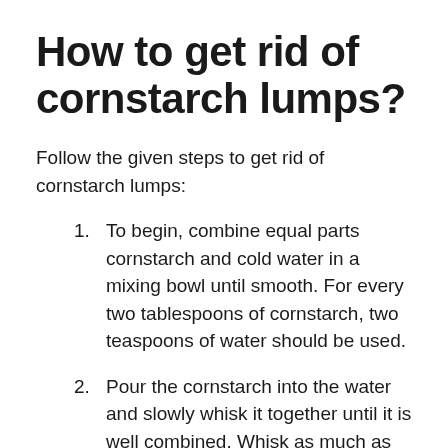How to get rid of cornstarch lumps?
Follow the given steps to get rid of cornstarch lumps:
1. To begin, combine equal parts cornstarch and cold water in a mixing bowl until smooth. For every two tablespoons of cornstarch, two teaspoons of water should be used.
2. Pour the cornstarch into the water and slowly whisk it together until it is well combined. Whisk as much as you possibly can.